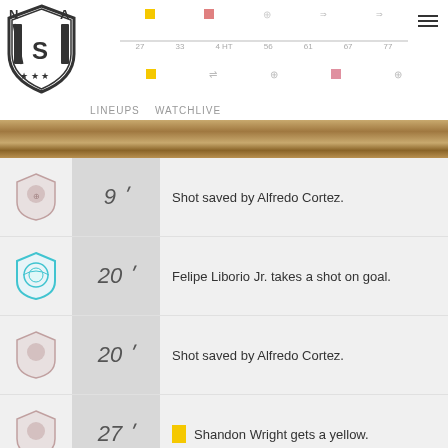[Figure (logo): NISA (National Independent Soccer Association) shield logo with three stars]
27 · 33   4 HT   56 61 67   77
LINEUPS   WATCHLIVE
9'  Shot saved by Alfredo Cortez.
20'  Felipe Liborio Jr. takes a shot on goal.
20'  Shot saved by Alfredo Cortez.
27'  [yellow card] Shandon Wright gets a yellow.
32'  [yellow card] Bryan Medina gets a yellow.